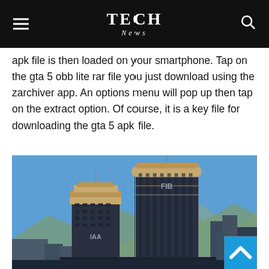TECH News
apk file is then loaded on your smartphone. Tap on the gta 5 obb lite rar file you just download using the zarchiver app. An options menu will pop up then tap on the extract option. Of course, it is a key file for downloading the gta 5 apk file.
[Figure (photo): Screenshot from GTA 5 showing two tall skyscrapers labeled IAA and FIB against a clear blue sky with mountains in the background.]